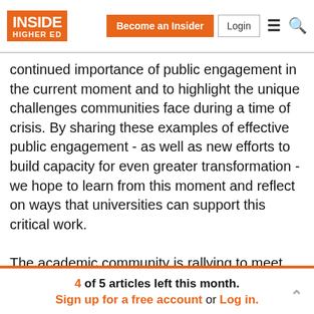INSIDE HIGHER ED | Become an Insider | Login
continued importance of public engagement in the current moment and to highlight the unique challenges communities face during a time of crisis. By sharing these examples of effective public engagement - as well as new efforts to build capacity for even greater transformation - we hope to learn from this moment and reflect on ways that universities can support this critical work.

The academic community is rallying to meet the crisis with waves of new research and creativity in engaging with different publics; public scholars have recognized
4 of 5 articles left this month.
Sign up for a free account or Log in.